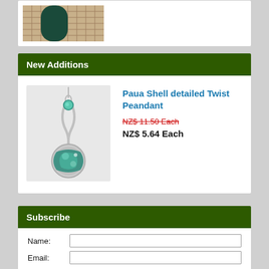[Figure (photo): Partial view of a dark green pendant/carving on a woven mat background]
New Additions
[Figure (photo): Paua Shell detailed Twist Pendant — silver twist pendant with colorful abalone paua shell disc]
Paua Shell detailed Twist Peandant
NZ$ 11.50 Each (strikethrough old price)
NZ$ 5.64 Each
Subscribe
Name:
Email: